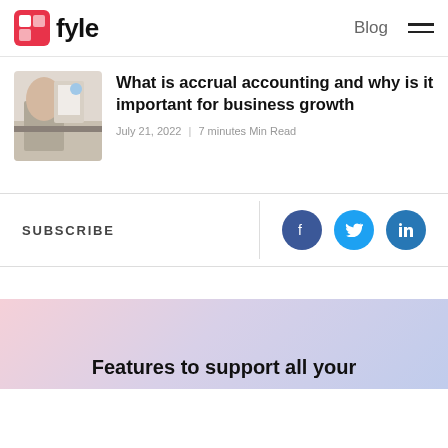Blog
What is accrual accounting and why is it important for business growth
July 21, 2022 | 7 minutes Min Read
SUBSCRIBE
[Figure (illustration): Social sharing buttons: Facebook, Twitter, LinkedIn]
Features to support all your